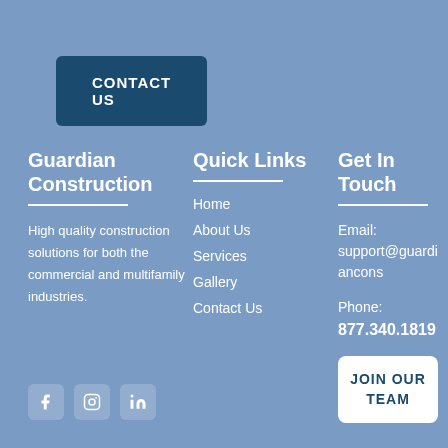CONTACT US
Guardian Construction
High quality construction solutions for both the commercial and multifamily industries.
Quick Links
Home
About Us
Services
Gallery
Contact Us
Get In Touch
Email: support@guardiancons
Phone: 877.340.1819
JOIN OUR TEAM
[Figure (illustration): Social media icons: Facebook, Instagram, LinkedIn]